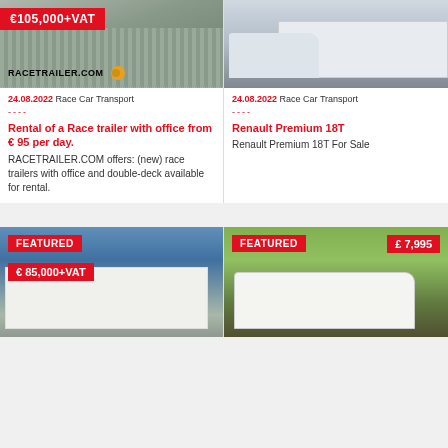[Figure (photo): Race trailer with ramp, price badge showing €105,000+VAT and RACETRAILER.COM logo]
[Figure (photo): Renault Premium 18T truck photo]
24.08.2022 Race Car Transport
----
Rental of a Race trailer with office from € 95 per day. RACETRAILER.COM offers: (new) race trailers with office and double-deck available for rental.
24.08.2022 Race Car Transport
----
Renault Premium 18T Renault Premium 18T For Sale
[Figure (photo): Featured race trailer, price €85,000+VAT]
[Figure (photo): Featured motorhome/truck, price £7,995]